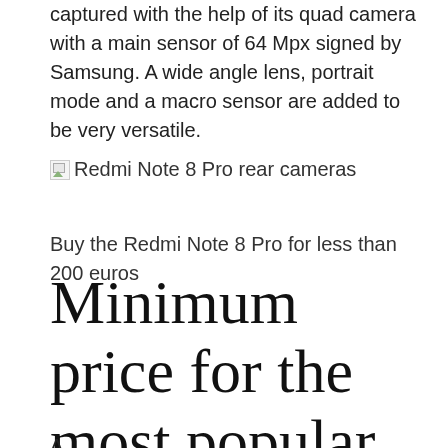captured with the help of its quad camera with a main sensor of 64 Mpx signed by Samsung. A wide angle lens, portrait mode and a macro sensor are added to be very versatile.
[Figure (photo): Broken image placeholder labeled 'Redmi Note 8 Pro rear cameras']
Buy the Redmi Note 8 Pro for less than 200 euros
Minimum price for the most popular mobile
A copy text that caps the product above 270